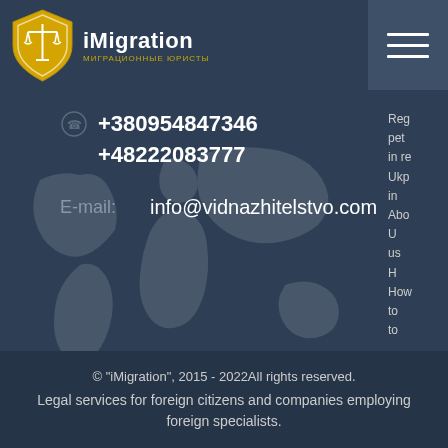[Figure (logo): iMigration logo with gold shield and scales of justice icon, text 'iMigration' and subtitle 'МИГРАЦИОННЫЕ ЮРИСТЫ']
+380954847346
+48222083777
E-mail:  info@vidnazhitelstvo.com
Reg
pet
in re
Ukp
in
Abo
U
us
H
How
to
to
© "iMigration", 2015 - 2022All rights reserved.
Legal services for foreign citizens and companies employing foreign specialists.